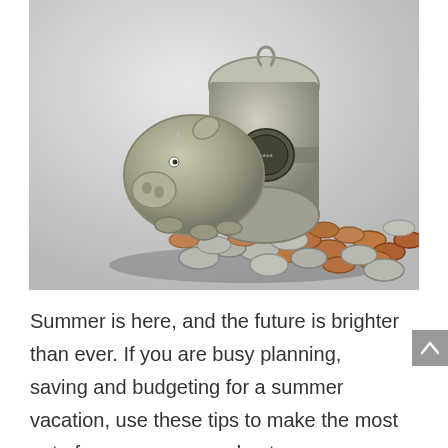[Figure (photo): A silver metallic piggy bank tipped on its side with coins (pennies, dimes, quarters) spilling out onto a light gray background.]
Summer is here, and the future is brighter than ever. If you are busy planning, saving and budgeting for a summer vacation, use these tips to make the most out of your summer and get your retirement savings